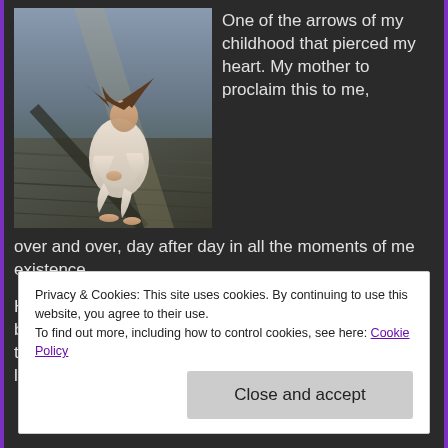[Figure (photo): A girl/young woman sitting alone on wooden steps or a dock, hugging her knees, dressed in light-colored clothing, with long hair blowing, in moody dramatic lighting.]
One of the arrows of my childhood that pierced my heart. My mother to proclaim this to me, over and over, day after day in all the moments of me existence.
He to be seen, held and loved while I was left in the background. Pushed aside to be remembered only in the abusing. To be spoken to only in anger and loathing. Never,
Privacy & Cookies: This site uses cookies. By continuing to use this website, you agree to their use.
To find out more, including how to control cookies, see here: Cookie Policy
Close and accept